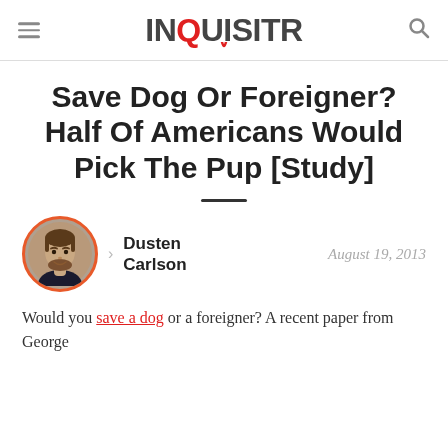INQUISITR
Save Dog Or Foreigner? Half Of Americans Would Pick The Pup [Study]
[Figure (photo): Circular author photo of Dusten Carlson with orange border]
Dusten Carlson
August 19, 2013
Would you save a dog or a foreigner? A recent paper from George